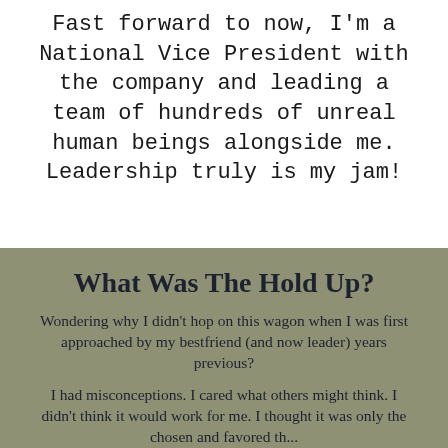Fast forward to now, I'm a National Vice President with the company and leading a team of hundreds of unreal human beings alongside me. Leadership truly is my jam!
What Was The Hold Up?
Wondering why I didn't hop on this wagon when I was first approached by my bestfriend (and now leader) years previous?
I had misconceptions. I cared what others might think. I didn't think it would work for me. I thought it was only the chosen and favored th...